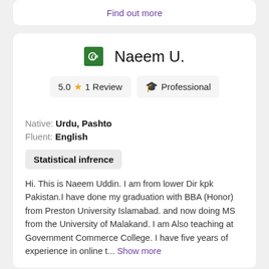Find out more
Naeem U.
5.0 ★ 1 Review  🎓 Professional
Native: Urdu, Pashto
Fluent: English
Statistical infrence
Hi. This is Naeem Uddin. I am from lower Dir kpk Pakistan.I have done my graduation with BBA (Honor) from Preston University Islamabad. and now doing MS from the University of Malakand. I am Also teaching at Government Commerce College. I have five years of experience in online t... Show more